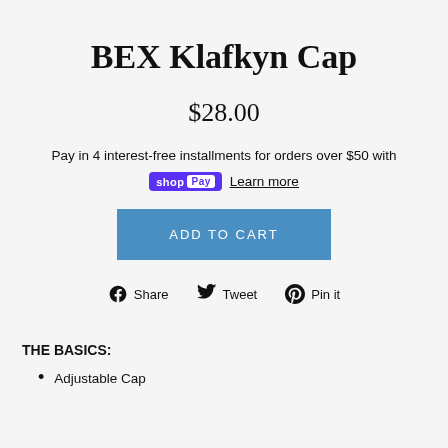BEX Klafkyn Cap
$28.00
Pay in 4 interest-free installments for orders over $50 with shop Pay Learn more
ADD TO CART
Share   Tweet   Pin it
THE BASICS:
Adjustable Cap